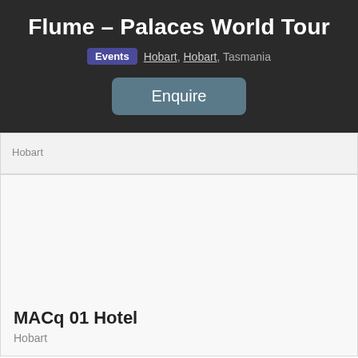Flume – Palaces World Tour
Events  Hobart, Hobart, Tasmania
Enquire
Hobart
MACq 01 Hotel
Hobart